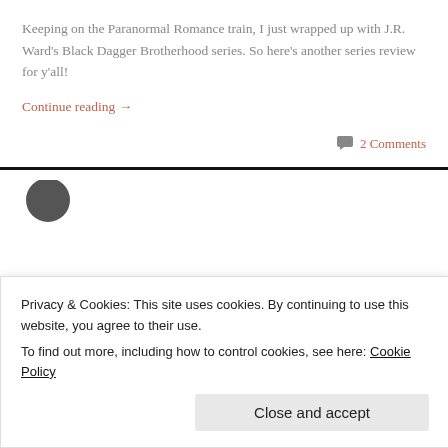Keeping on the Paranormal Romance train, I just wrapped up with J.R. Ward's Black Dagger Brotherhood series. So here's another series review for y'all!
Continue reading →
💬 2 Comments
Privacy & Cookies: This site uses cookies. By continuing to use this website, you agree to their use.
To find out more, including how to control cookies, see here: Cookie Policy
Close and accept